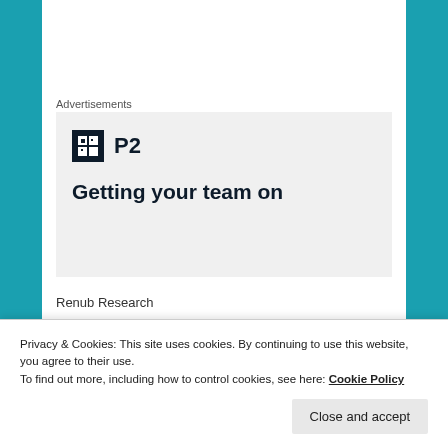Advertisements
[Figure (illustration): Advertisement banner with P2 logo (dark square with white grid icon) and text 'Getting your team on' in bold on a light grey background]
Renub Research
Phone No: +1 678-302-0700 (USA) | +91-120-421-9822 (IND)
Privacy & Cookies: This site uses cookies. By continuing to use this website, you agree to their use.
To find out more, including how to control cookies, see here: Cookie Policy
Linkedin: https://www.linkedin.com/company/renub-